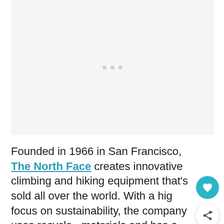[Figure (other): Light gray placeholder image area with three small gray dots centered in the upper portion]
Founded in 1966 in San Francisco, The North Face creates innovative climbing and hiking equipment that's sold all over the world. With a high focus on sustainability, the company uses recycled materials and has a take back program for used